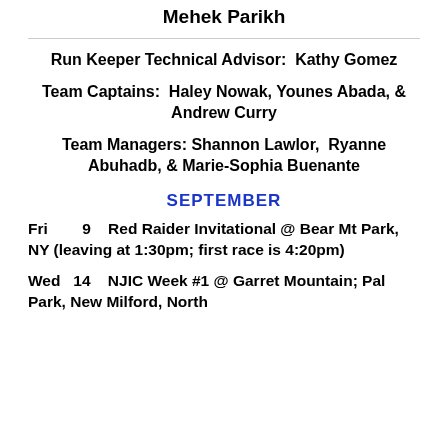Mehek Parikh
Run Keeper Technical Advisor:  Kathy Gomez
Team Captains:  Haley Nowak, Younes Abada, & Andrew Curry
Team Managers: Shannon Lawlor,  Ryanne Abuhadb, & Marie-Sophia Buenante
SEPTEMBER
Fri        9    Red Raider Invitational @ Bear Mt Park, NY (leaving at 1:30pm; first race is 4:20pm)
Wed   14    NJIC Week #1 @ Garret Mountain; Pal Park, New Milford, North